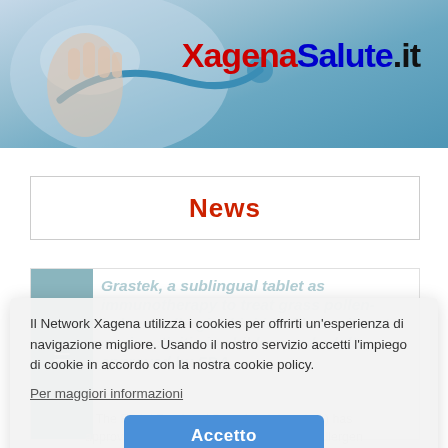[Figure (photo): Medical professional holding a stethoscope, blurred background, used as website header banner]
XagenaSalute.it
News
Grastek, a sublingual tablet as immunotherapy to treat grass pollen-induced allergic rhinitis with or without conjunctivitis in children and adults, approved by FDA
Il Network Xagena utilizza i cookies per offrirti un'esperienza di navigazione migliore. Usando il nostro servizio accetti l'impiego di cookie in accordo con la nostra cookie policy.
Per maggiori informazioni
Accetto
The FDA ( Food and Drug Administration ) has approved Grastek ( Timothy Grass Pollen Allergen